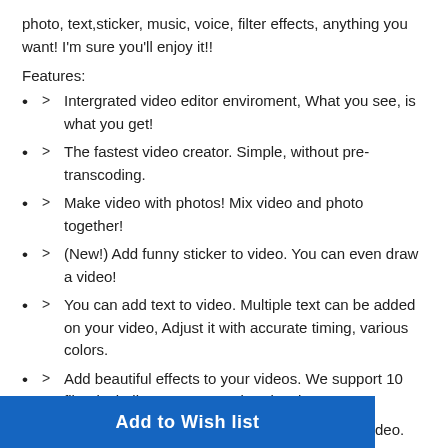photo, text,sticker, music, voice, filter effects, anything you want! I'm sure you'll enjoy it!!
Features:
> Intergrated video editor enviroment, What you see, is what you get!
> The fastest video creator. Simple, without pre-transcoding.
> Make video with photos! Mix video and photo together!
> (New!) Add funny sticker to video. You can even draw a video!
> You can add text to video. Multiple text can be added on your video, Adjust it with accurate timing, various colors.
> Add beautiful effects to your videos. We support 10 filter including Beauty, Sepia, Sketch, etc.
> Add your favorite music. You can also dub to video.
> Trim video. It's extremly fast.
> Share your video to Youtube/Instagram/Facebook.
[Figure (other): Blue button partially visible at the bottom of the page]